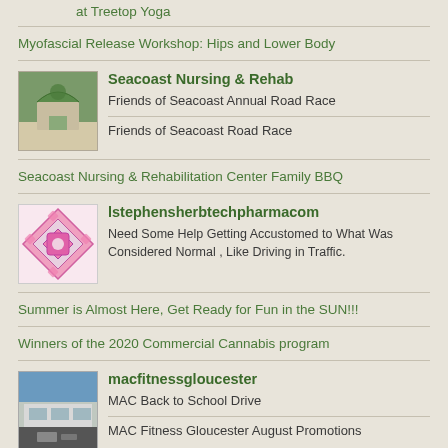at Treetop Yoga
Myofascial Release Workshop: Hips and Lower Body
[Figure (photo): Photo of Seacoast Nursing & Rehab building with archway and trees]
Seacoast Nursing & Rehab
Friends of Seacoast Annual Road Race
Friends of Seacoast Road Race
Seacoast Nursing & Rehabilitation Center Family BBQ
[Figure (logo): Pink geometric diamond quilt pattern logo for lstephensherbtechpharmacom]
lstephensherbtechpharmacom
Need Some Help Getting Accustomed to What Was Considered Normal , Like Driving in Traffic.
Summer is Almost Here, Get Ready for Fun in the SUN!!!
Winners of the 2020 Commercial Cannabis program
[Figure (photo): Photo of MAC Fitness Gloucester building exterior]
macfitnessgloucester
MAC Back to School Drive
MAC Fitness Gloucester August Promotions
Come cool off at MAC Fitness! OPEN TO THE PUBLIC THIS WEEK!